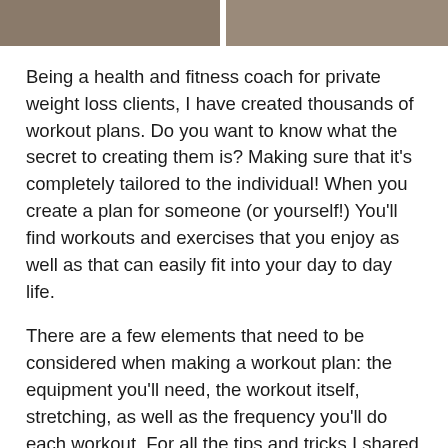[Figure (photo): Cropped photo strip showing two people, split by a white divider, gym or casual setting]
Being a health and fitness coach for private weight loss clients, I have created thousands of workout plans. Do you want to know what the secret to creating them is? Making sure that it's completely tailored to the individual! When you create a plan for someone (or yourself!) You'll find workouts and exercises that you enjoy as well as that can easily fit into your day to day life.
There are a few elements that need to be considered when making a workout plan: the equipment you'll need, the workout itself, stretching, as well as the frequency you'll do each workout. For all the tips and tricks I shared with Successible Life on how to create an amazing